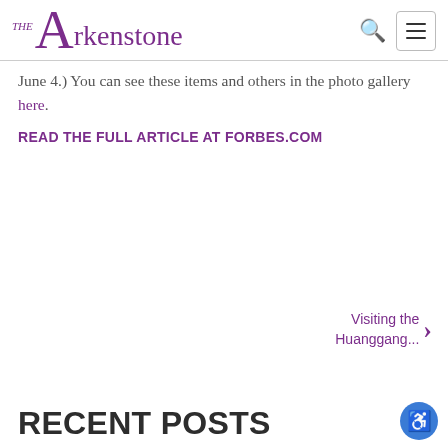THE Arkenstone
June 4.) You can see these items and others in the photo gallery here.
READ THE FULL ARTICLE AT FORBES.COM
Visiting the Huanggang...
RECENT POSTS